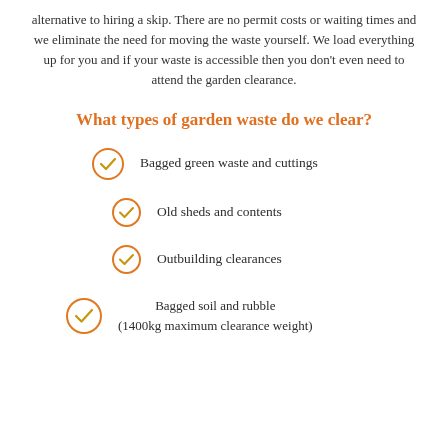alternative to hiring a skip. There are no permit costs or waiting times and we eliminate the need for moving the waste yourself. We load everything up for you and if your waste is accessible then you don't even need to attend the garden clearance.
What types of garden waste do we clear?
Bagged green waste and cuttings
Old sheds and contents
Outbuilding clearances
Bagged soil and rubble (1400kg maximum clearance weight)